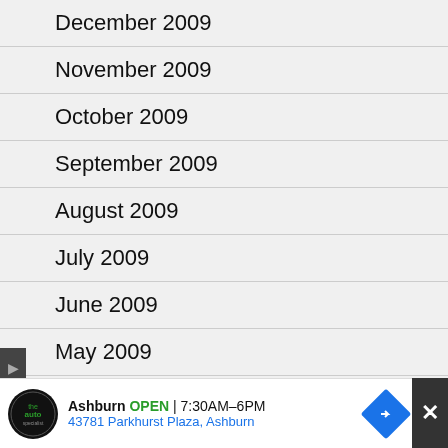December 2009
November 2009
October 2009
September 2009
August 2009
July 2009
June 2009
May 2009
April 2009
March 2009
February 2009
[Figure (infographic): Advertisement banner: Ashburn OPEN 7:30AM-6PM, 43781 Parkhurst Plaza Ashburn with logo and navigation arrow]